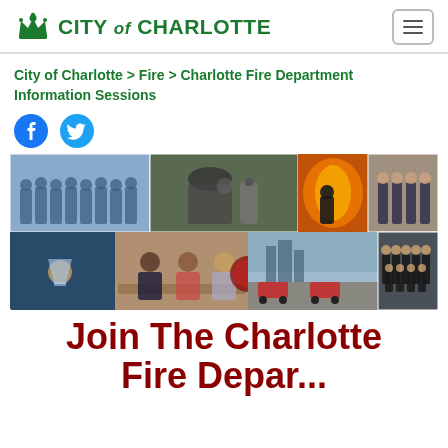CITY of CHARLOTTE
City of Charlotte > Fire > Charlotte Fire Department Information Sessions
[Figure (illustration): Social media share icons: Facebook (blue circle with f) and Twitter (blue bird)]
[Figure (photo): Collage of Charlotte Fire Department photos including firefighters in uniform group shot, firefighters with equipment, fire/smoke silhouette, firefighters at event table with Charlotte Fire logo, city skyline with fire trucks, large group of firefighters in black uniforms]
Join The Charlotte Fire Department